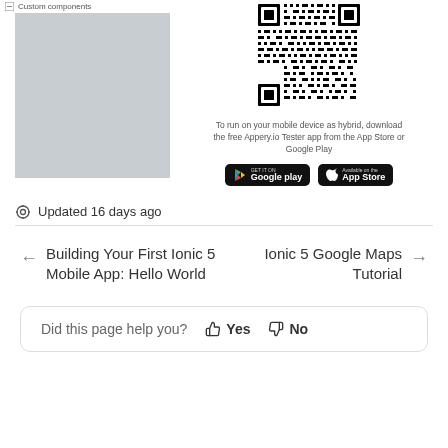[Figure (screenshot): Left panel showing grayed out app UI with Custom components label at top]
[Figure (other): QR code for scanning to run on mobile device]
To run on your mobile device as hybrid, download the free Appery.io Tester app from the App Store or Google Play
[Figure (other): Google Play store download button]
[Figure (other): Apple App Store download button]
Updated 16 days ago
Building Your First Ionic 5 Mobile App: Hello World
Ionic 5 Google Maps Tutorial
Did this page help you?  Yes  No